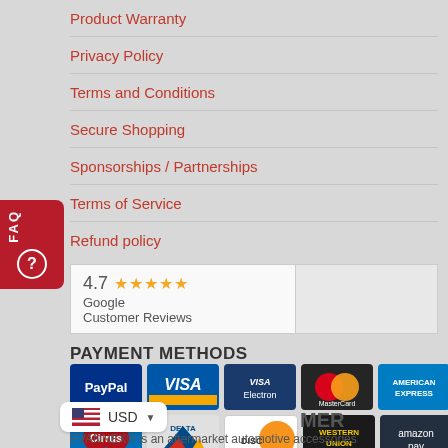Product Warranty
Privacy Policy
Terms and Conditions
Secure Shopping
Sponsorships / Partnerships
Terms of Service
Refund policy
[Figure (other): Google Customer Reviews badge showing 4.7 star rating with 5 orange stars]
PAYMENT METHODS
[Figure (other): Payment method logos: PayPal, Visa, Visa Electron, MasterCard, American Express, Cirrus, Delta, Discover, Western Union, Amazon Pay]
USD
MER
EVANNEX® is an aftermarket automotive accessories